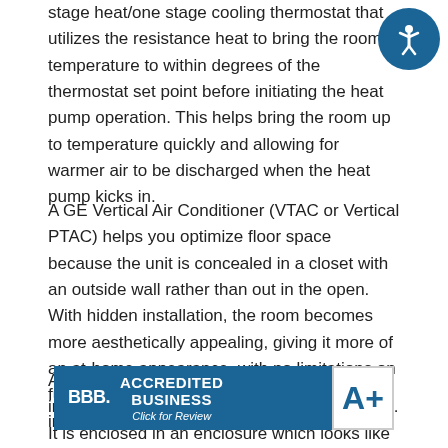stage heat/one stage cooling thermostat that utilizes the resistance heat to bring the room temperature to within degrees of the thermostat set point before initiating the heat pump operation. This helps bring the room up to temperature quickly and allowing for warmer air to be discharged when the heat pump kicks in.
A GE Vertical Air Conditioner (VTAC or Vertical PTAC) helps you optimize floor space because the unit is concealed in a closet with an outside wall rather than out in the open. With hidden installation, the room becomes more aesthetically appealing, giving it more of an at-home appearance, with no limitations on furniture placement or window treatment installation.
Although the VTAC is still a through-the-wall installation, its footprint is only about 24" x 24". It is enclosed in an enclosure which looks like a closet, unlike a standard PTAC unit which is installed in the room taking up over
[Figure (logo): BBB Accredited Business badge with A+ rating. Blue background with BBB logo on left, ACCREDITED BUSINESS text in center, A+ grade on right.]